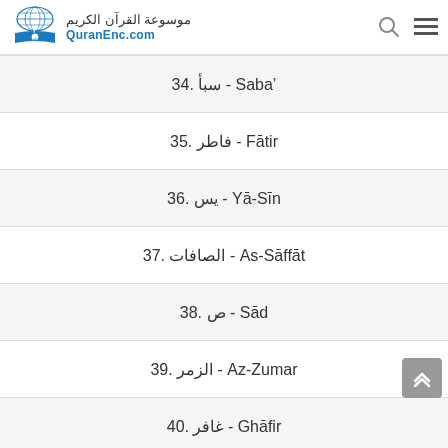QuranEnc.com - موسوعة القرآن الكريم
34. سبأ - Saba'
35. فاطر - Fātir
36. يس - Yā-Sīn
37. الصافات - As-Sāffāt
38. ص - Sād
39. الزمر - Az-Zumar
40. غافر - Ghāfir